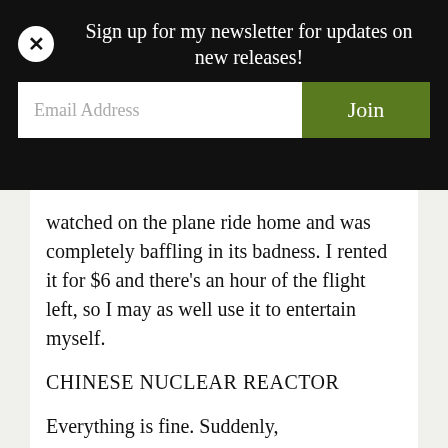Sign up for my newsletter for updates on new releases!
watched on the plane ride home and was completely baffling in its badness. I rented it for $6 and there's an hour of the flight left, so I may as well use it to entertain myself.
CHINESE NUCLEAR REACTOR
Everything is fine. Suddenly, COMPUTERS! We zoom inside the computer to see a light turn on. Then